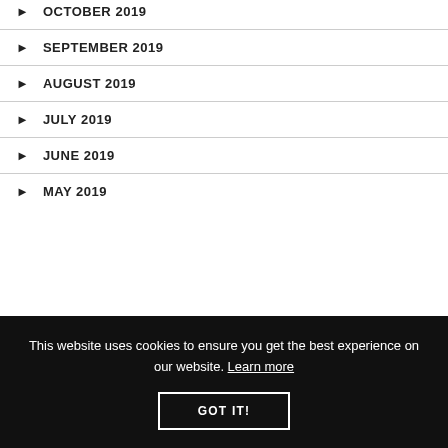OCTOBER 2019
SEPTEMBER 2019
AUGUST 2019
JULY 2019
JUNE 2019
MAY 2019
This website uses cookies to ensure you get the best experience on our website. Learn more
GOT IT!